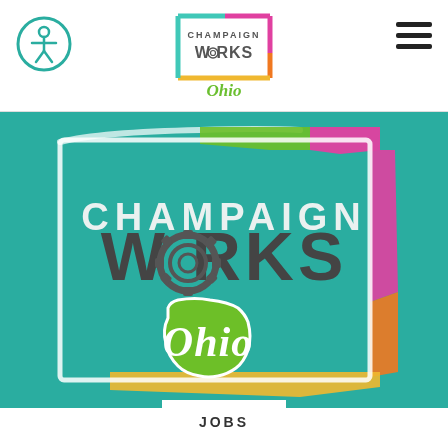[Figure (logo): Accessibility icon - circle with person figure, teal outline]
[Figure (logo): Champaign Works Ohio logo in header - colorful frame with gear in W]
[Figure (logo): Hamburger menu icon (three horizontal bars)]
[Figure (logo): Large Champaign Works Ohio banner logo on teal background with colorful border frame, gear icon in W, green Ohio state shape with script Ohio text]
JOBS